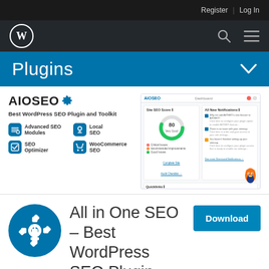Register   Log In
[Figure (logo): WordPress logo (W in circle) on dark nav bar with search and menu icons]
Plugins
[Figure (screenshot): AIOSEO plugin card showing logo, tagline 'Best WordPress SEO Plugin and Toolkit', feature icons (Advanced SEO Modules, Local SEO, SEO Optimizer, WooCommerce SEO), and a dashboard screenshot with site SEO score of 80 (Very Good)]
All in One SEO – Best WordPress SEO Plugin –